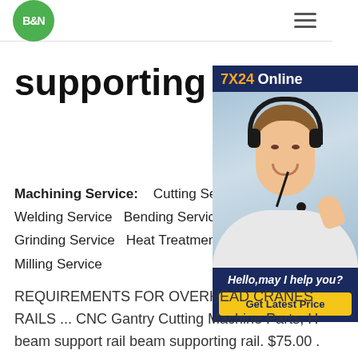[Figure (logo): B&N logo — green circle with white bold B&N text]
supporting
Machining Service:   Cutting Service   Welding Service   Bending Service   R...   Grinding Service   Heat Treatment   Dr...   Milling Service
[Figure (photo): Customer service agent wearing headset, smiling, with '7X24 Online' header, 'Hello,may I help you?' italic caption, and 'Get Latest Price' yellow button]
REQUIREMENTS FOR OVERHEAD CRANES RAILS ... CNC Gantry Cutting Machine Parts, H beam support rail beam supporting rail. $75.00 . Search High Quality Rail and Rack Manufacturing